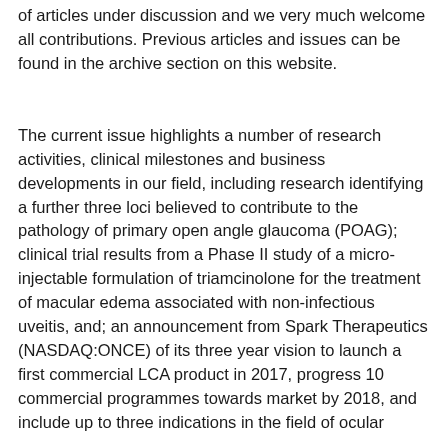of articles under discussion and we very much welcome all contributions. Previous articles and issues can be found in the archive section on this website.
The current issue highlights a number of research activities, clinical milestones and business developments in our field, including research identifying a further three loci believed to contribute to the pathology of primary open angle glaucoma (POAG); clinical trial results from a Phase II study of a micro-injectable formulation of triamcinolone for the treatment of macular edema associated with non-infectious uveitis, and; an announcement from Spark Therapeutics (NASDAQ:ONCE) of its three year vision to launch a first commercial LCA product in 2017, progress 10 commercial programmes towards market by 2018, and include up to three indications in the field of ocular